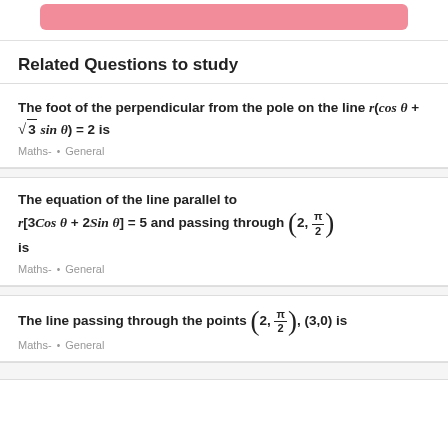[Figure (other): Pink submit button at top]
Related Questions to study
The foot of the perpendicular from the pole on the line r(cos θ + √3 sin θ) = 2 is
Maths- • General
The equation of the line parallel to r[3 Cos θ + 2 Sin θ] = 5 and passing through (2, π/2) is
Maths- • General
The line passing through the points (2, π/2), (3,0) is
Maths- • General